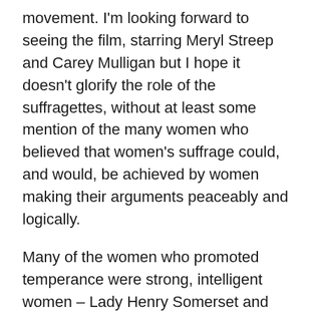movement. I'm looking forward to seeing the film, starring Meryl Streep and Carey Mulligan but I hope it doesn't glorify the role of the suffragettes, without at least some mention of the many women who believed that women's suffrage could, and would, be achieved by women making their arguments peaceably and logically.
Many of the women who promoted temperance were strong, intelligent women – Lady Henry Somerset and Rosalind Howard, Countess of Carlisle to name just 2. Naturally they saw the sense in women having the vote and baulked at the notion that they were an inferior species. They demonstrated through their temperance work that they were very capable of organising themselves, locally and nationally. They held rallies and demonstrations. They had their own journals. They travelled the country delivering powerful speeches. Their